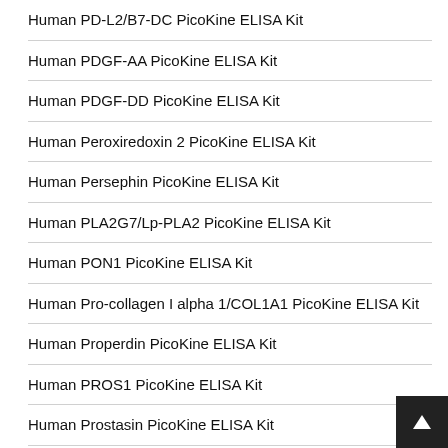Human PD-L2/B7-DC PicoKine ELISA Kit
Human PDGF-AA PicoKine ELISA Kit
Human PDGF-DD PicoKine ELISA Kit
Human Peroxiredoxin 2 PicoKine ELISA Kit
Human Persephin PicoKine ELISA Kit
Human PLA2G7/Lp-PLA2 PicoKine ELISA Kit
Human PON1 PicoKine ELISA Kit
Human Pro-collagen I alpha 1/COL1A1 PicoKine ELISA Kit
Human Properdin PicoKine ELISA Kit
Human PROS1 PicoKine ELISA Kit
Human Prostasin PicoKine ELISA Kit
Human PSP94 PicoKine ELISA Kit
Human R-Spondin-1 PicoKine ELISA Kit
Human R-Spondin-3 PicoKine ELISA Kit